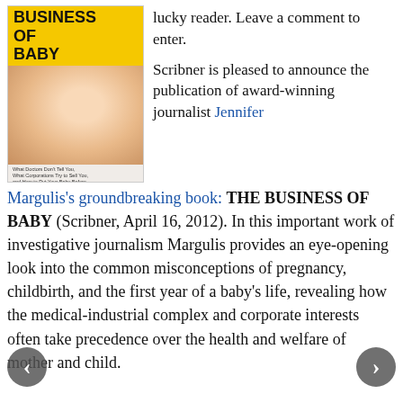[Figure (illustration): Book cover of 'The Business of Baby' by Jennifer Margulis, published by Scribner. Yellow band at top with bold title text, baby face photo in middle, subtitle and author name bar at bottom.]
lucky reader. Leave a comment to enter.
Scribner is pleased to announce the publication of award-winning journalist Jennifer Margulis's groundbreaking book: THE BUSINESS OF BABY (Scribner, April 16, 2012). In this important work of investigative journalism Margulis provides an eye-opening look into the common misconceptions of pregnancy, childbirth, and the first year of a baby's life, revealing how the medical-industrial complex and corporate interests often take precedence over the health and welfare of mother and child.